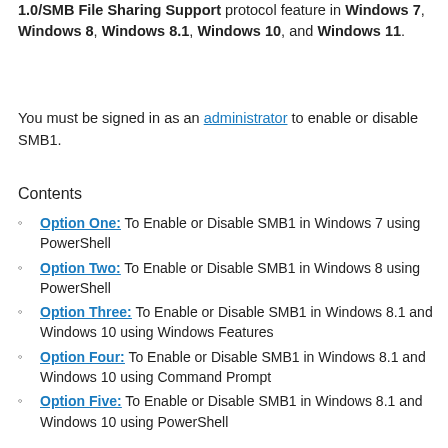1.0/SMB File Sharing Support protocol feature in Windows 7, Windows 8, Windows 8.1, Windows 10, and Windows 11.
You must be signed in as an administrator to enable or disable SMB1.
Contents
Option One: To Enable or Disable SMB1 in Windows 7 using PowerShell
Option Two: To Enable or Disable SMB1 in Windows 8 using PowerShell
Option Three: To Enable or Disable SMB1 in Windows 8.1 and Windows 10 using Windows Features
Option Four: To Enable or Disable SMB1 in Windows 8.1 and Windows 10 using Command Prompt
Option Five: To Enable or Disable SMB1 in Windows 8.1 and Windows 10 using PowerShell